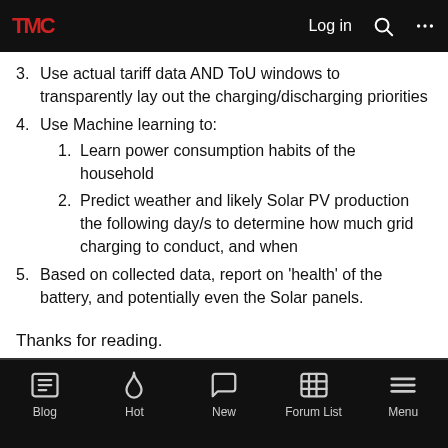TMC forum header with Log in, Search, and Menu icons
3. Use actual tariff data AND ToU windows to transparently lay out the charging/discharging priorities
4. Use Machine learning to:
1. Learn power consumption habits of the household
2. Predict weather and likely Solar PV production the following day/s to determine how much grid charging to conduct, and when
5. Based on collected data, report on 'health' of the battery, and potentially even the Solar panels.
Thanks for reading.
Big Earl, andrewrogers and BJReplay
Blog | Hot | New | Forum List | Menu